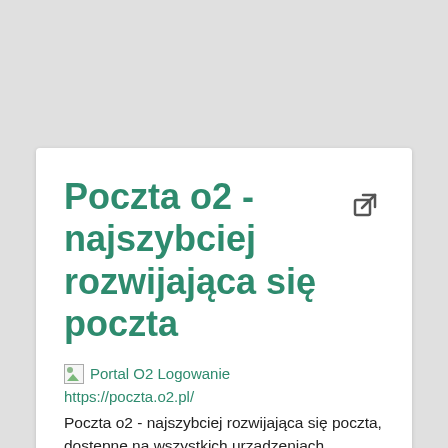Poczta o2 - najszybciej rozwijająca się poczta
[Figure (illustration): Broken image placeholder labeled 'Portal O2 Logowanie']
https://poczta.o2.pl/
Poczta o2 - najszybciej rozwijająca się poczta, dostępne na wszystkich urządzeniach. Posiada 100MB, załączniki, 30GB pojemności, skuteczny